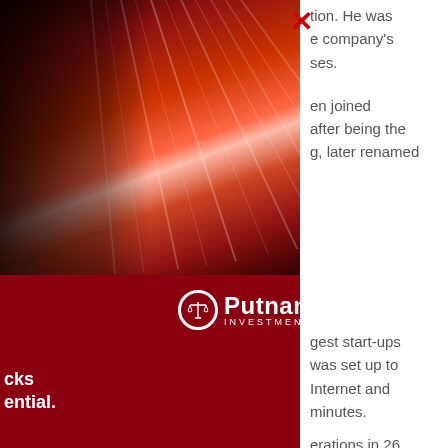[Figure (photo): Abstract image of red/orange layered paper fanned out suggesting a stylized profile silhouette, viewed from left side]
[Figure (logo): Putnam Investments logo: scales of justice icon inside a circle, beside the text 'Putnam' in bold white and 'INVESTMENTS' in small caps white, on a dark red background]
tion. He was e company's ses.
en joined after being the g, later renamed
gest start-ups was set up to Internet and minutes. erations in 26
cks ential.